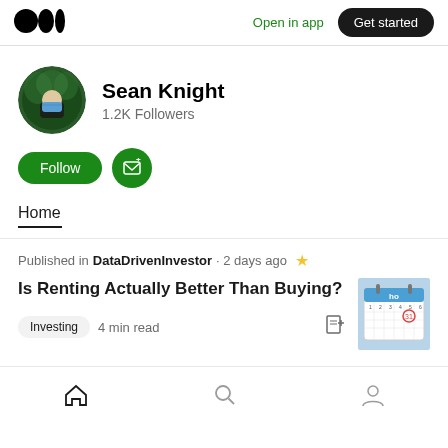Open in app  Get started
Sean Knight
1.2K Followers
Follow  [subscribe button]
Home
Published in DataDrivenInvestor · 2 days ago
Is Renting Actually Better Than Buying?
Investing  4 min read